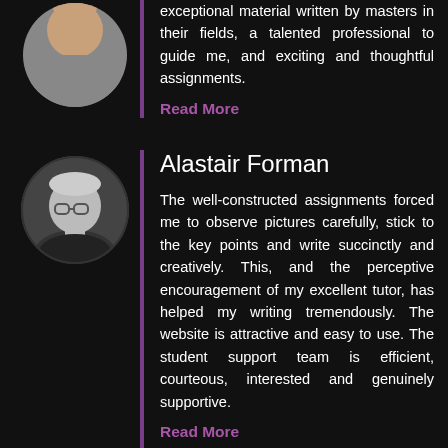exceptional material written by masters in their fields, a talented professional to guide me, and exciting and thoughtful assignments.
Read More
[Figure (photo): Black and white circular portrait photo of Alastair Forman, an older man with glasses]
Alastair Forman
The well-constructed assignments forced me to observe pictures carefully, stick to the key points and write succinctly and creatively. This, and the perceptive encouragement of my excellent tutor, has helped my writing tremendously. The website is attractive and easy to use. The student support team is efficient, courteous, interested and genuinely supportive.
Read More
[Figure (photo): Circular portrait photo of Silvia Languasco, partially visible at the bottom of the page]
Silvia Languasco